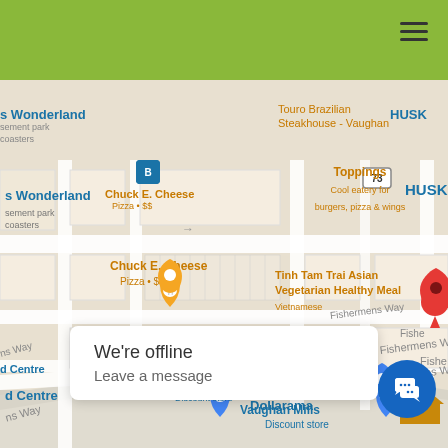[Figure (screenshot): Google Maps screenshot showing Vaughan Mills area with restaurant and store pins including Touro Brazilian Steakhouse, Chuck E. Cheese, Toppings, Tinh Tam Trai Asian Vegetarian Healthy Meal, Dollarama, and Vaughan Mills label. Green app header bar with hamburger menu at top.]
We're offline
Leave a message